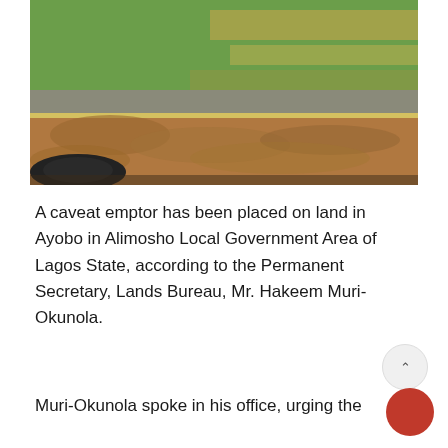[Figure (photo): Outdoor photo showing earthen ground with a concrete retaining wall or road edge, sandy/reddish-brown dirt mounds, green grass in the background, and part of a car side mirror visible in the lower left corner.]
A caveat emptor has been placed on land in Ayobo in Alimosho Local Government Area of Lagos State, according to the Permanent Secretary, Lands Bureau, Mr. Hakeem Muri-Okunola.
Muri-Okunola spoke in his office, urging the